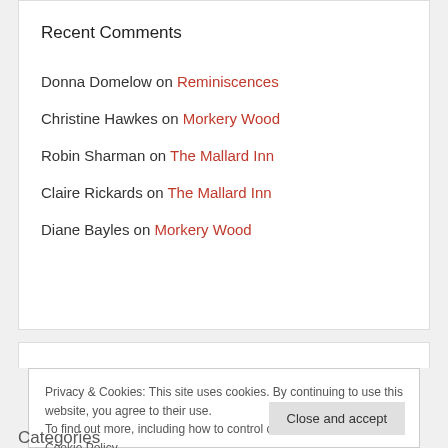Recent Comments
Donna Domelow on Reminiscences
Christine Hawkes on Morkery Wood
Robin Sharman on The Mallard Inn
Claire Rickards on The Mallard Inn
Diane Bayles on Morkery Wood
Privacy & Cookies: This site uses cookies. By continuing to use this website, you agree to their use.
To find out more, including how to control cookies, see here: Cookie Policy
Close and accept
Categories